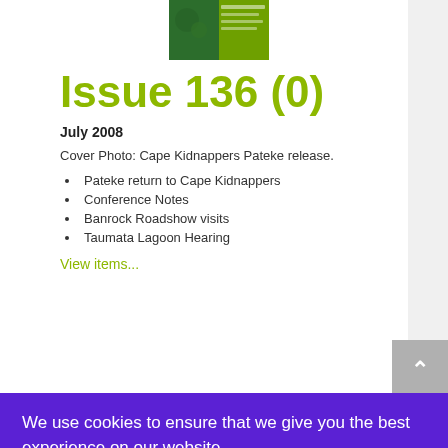[Figure (photo): Cover image of Issue 136 newsletter, showing a green and nature themed cover.]
Issue 136 (0)
July 2008
Cover Photo: Cape Kidnappers Pateke release.
Pateke return to Cape Kidnappers
Conference Notes
Banrock Roadshow visits
Taumata Lagoon Hearing
View items...
We use cookies to ensure that we give you the best experience on our website.
I accept